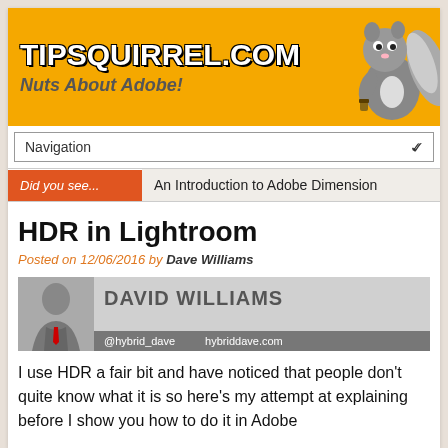[Figure (logo): TipSquirrel.com website header banner with orange background, bold white outlined text 'TIPSQUIRREL.COM', italic subtitle 'Nuts About Adobe!', and a cartoon squirrel on the right.]
Navigation
Did you see...   An Introduction to Adobe Dimension
HDR in Lightroom
Posted on 12/06/2016 by Dave Williams
[Figure (photo): David Williams author card with photo on left and text 'DAVID WILLIAMS @hybrid_dave hybriddave.com' on grey background.]
I use HDR a fair bit and have noticed that people don't quite know what it is so here's my attempt at explaining before I show you how to do it in Adobe